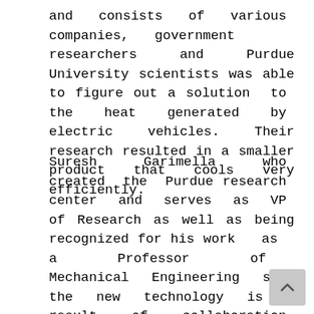and consists of various companies, government researchers and Purdue University scientists was able to figure out a solution to the heat generated by electric vehicles. Their research resulted in a smaller product that cools very efficiently.
Suresh Garimella who created the Purdue research center and serves as VP of Research as well as being recognized for his work as a Professor of Mechanical Engineering says the new technology is a result of collaboration with more than 40 companies with experts on making cooling technology smaller and more efficient. He also says that what he is most proud of is how many students pursuing degrees at Purdue have been able to take part in the